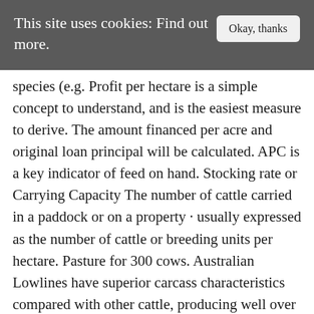This site uses cookies: Find out more.
species (e.g. Profit per hectare is a simple concept to understand, and is the easiest measure to derive. The amount financed per acre and original loan principal will be calculated. APC is a key indicator of feed on hand. Stocking rate or Carrying Capacity The number of cattle carried in a paddock or on a property · usually expressed as the number of cattle or breeding units per hectare. Pasture for 300 cows. Australian Lowlines have superior carcass characteristics compared with other cattle, producing well over 70% dressed out beef. Unfortunately, forage yield